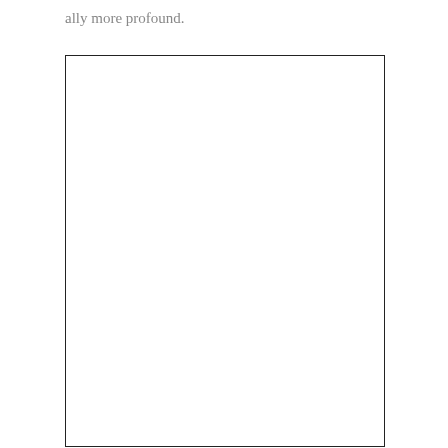ally more profound.
[Figure (other): Empty white rectangle with a thin black border, no visible content inside.]